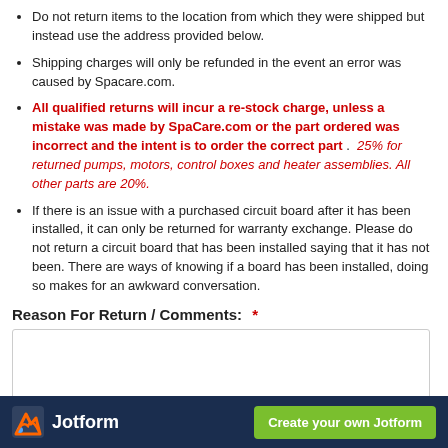Do not return items to the location from which they were shipped but instead use the address provided below.
Shipping charges will only be refunded in the event an error was caused by Spacare.com.
All qualified returns will incur a re-stock charge, unless a mistake was made by SpaCare.com or the part ordered was incorrect and the intent is to order the correct part . 25% for returned pumps, motors, control boxes and heater assemblies. All other parts are 20%.
If there is an issue with a purchased circuit board after it has been installed, it can only be returned for warranty exchange. Please do not return a circuit board that has been installed saying that it has not been. There are ways of knowing if a board has been installed, doing so makes for an awkward conversation.
Reason For Return / Comments: *
Jotform  Create your own Jotform